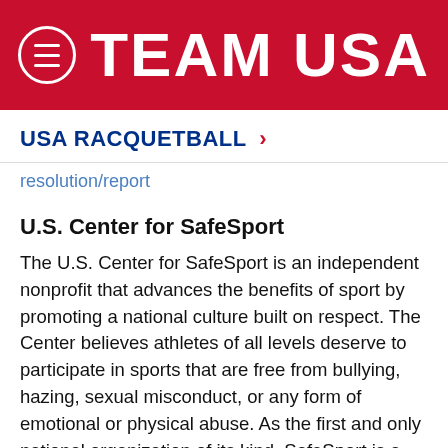TEAM USA
USA RACQUETBALL >
resolution/report
U.S. Center for SafeSport
The U.S. Center for SafeSport is an independent nonprofit that advances the benefits of sport by promoting a national culture built on respect. The Center believes athletes of all levels deserve to participate in sports that are free from bullying, hazing, sexual misconduct, or any form of emotional or physical abuse. As the first and only national organization of its kind, SafeSport is a resource for any sports entity, from youth to professional. Headquartered in